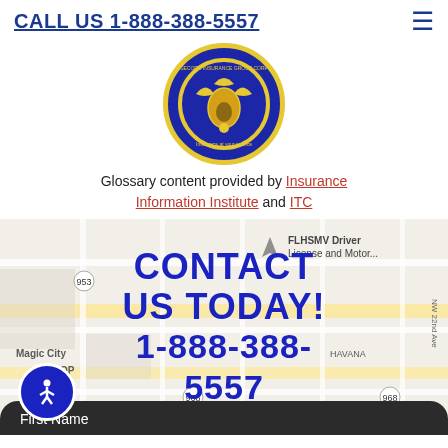CALL US 1-888-388-5557
[Figure (logo): Secord Insurance Group Corp circular logo with blue background, yellow border, and coat of arms design with text 'Insurance at your service']
Glossary content provided by Insurance Information Institute and ITC
[Figure (map): Google Maps view of Miami area showing FLHSMV Driver License and Motor... location, Magic City, IHOP, West Flagler, with overlaid text CONTACT US TODAY! 1-888-388-5557]
First Name